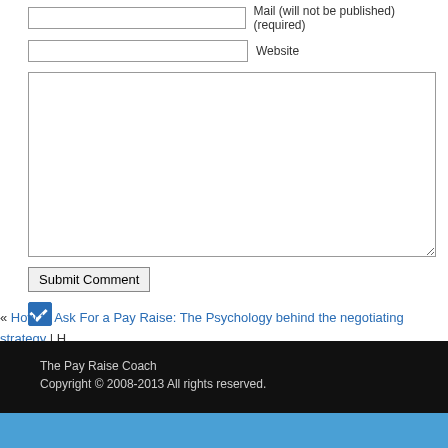Mail (will not be published) (required)
Website
Submit Comment
« How to Ask For a Pay Raise: The Psychology behind the negotiating strategy | H... When Asking For a Pay Raise: Salary Negotiations »
The Pay Raise Coach
Copyright © 2008-2013 All rights reserved.